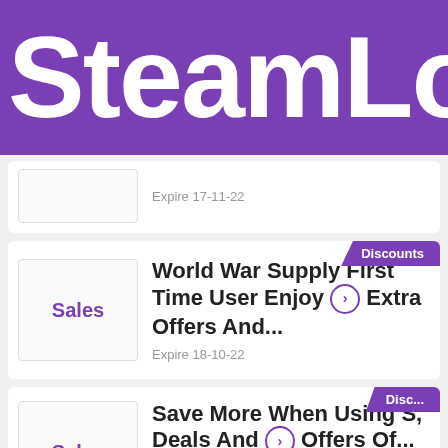SteamLo
Expire 17-11-22
Discounts
World War Supply First Time User Enjoy Extra Offers And...
Expire 18-10-22
Disc...
Save More When Using S, Deals And Offers Of...